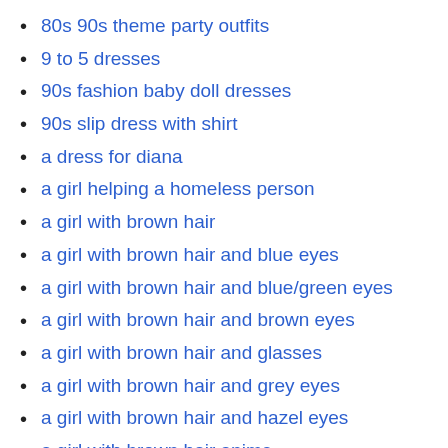80s 90s theme party outfits
9 to 5 dresses
90s fashion baby doll dresses
90s slip dress with shirt
a dress for diana
a girl helping a homeless person
a girl with brown hair
a girl with brown hair and blue eyes
a girl with brown hair and blue/green eyes
a girl with brown hair and brown eyes
a girl with brown hair and glasses
a girl with brown hair and grey eyes
a girl with brown hair and hazel eyes
a girl with brown hair anime
a girl with brown hair cartoon